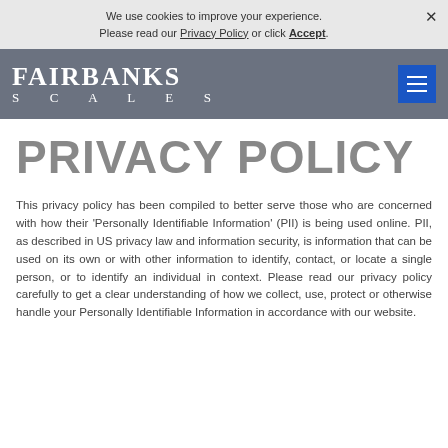We use cookies to improve your experience. Please read our Privacy Policy or click Accept.
[Figure (logo): Fairbanks Scales logo — white serif text on grey background with blue hamburger menu button]
PRIVACY POLICY
This privacy policy has been compiled to better serve those who are concerned with how their 'Personally Identifiable Information' (PII) is being used online. PII, as described in US privacy law and information security, is information that can be used on its own or with other information to identify, contact, or locate a single person, or to identify an individual in context. Please read our privacy policy carefully to get a clear understanding of how we collect, use, protect or otherwise handle your Personally Identifiable Information in accordance with our website.